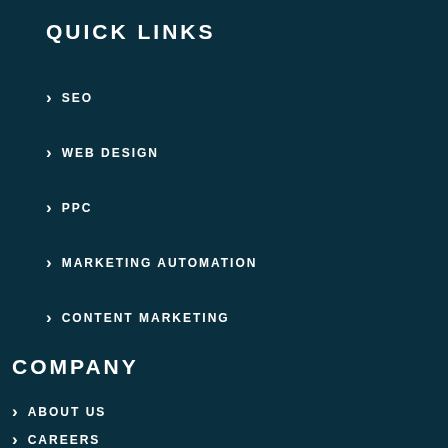QUICK LINKS
SEO
WEB DESIGN
PPC
MARKETING AUTOMATION
CONTENT MARKETING
COMPANY
ABOUT US
CAREERS
CONTACT